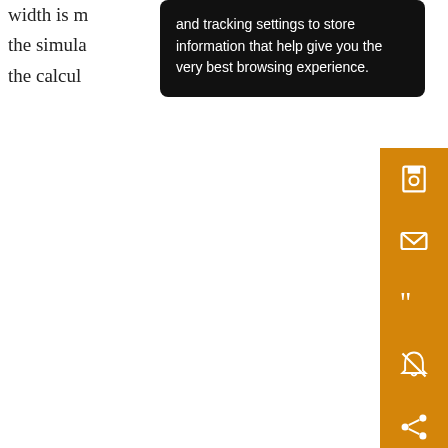width is m… ng that the simula… fast as the calcul… gges
[Figure (screenshot): Black tooltip overlay with white text reading: 'and tracking settings to store information that help give you the very best browsing experience.' Orange vertical sidebar with save, email, quote, unfollow, and share icons.]
bco cas vor the (rec init